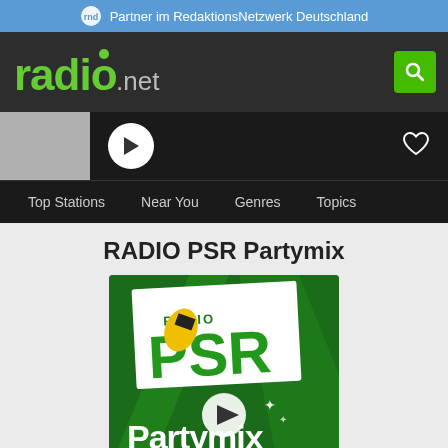Partner im RedaktionsNetzwerk Deutschland
[Figure (logo): radio.net logo with green text and search button]
[Figure (screenshot): Radio player bar with play button and heart/favorite icon]
Top Stations  Near You  Genres  Topics
RADIO PSR Partymix
[Figure (logo): RADIO PSR Partymix logo — green background with white PSR letters, yellow-black stripe on P, Partymix text at bottom, play button overlay]